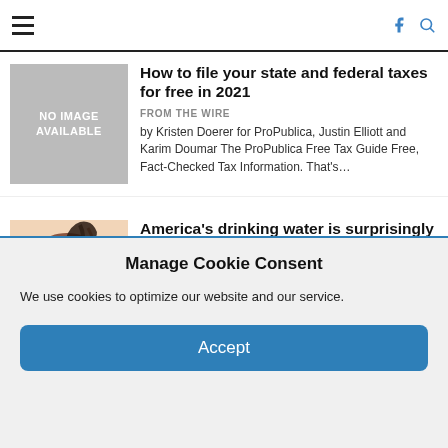Navigation header with hamburger menu, Facebook icon, and search icon
How to file your state and federal taxes for free in 2021
FROM THE WIRE
by Kristen Doerer for ProPublica, Justin Elliott and Karim Doumar The ProPublica Free Tax Guide Free, Fact-Checked Tax Information. That's...
[Figure (photo): Illustration of a water tower with dark liquid spilling from it, against a pink/peach background]
America's drinking water is surprisingly easy to poison
FROM THE WIRE
The cyberbreach at a plant in Oldsmar, Florida, which could have resulted in a mass poisoning, was a reminder of...
Manage Cookie Consent
We use cookies to optimize our website and our service.
Accept